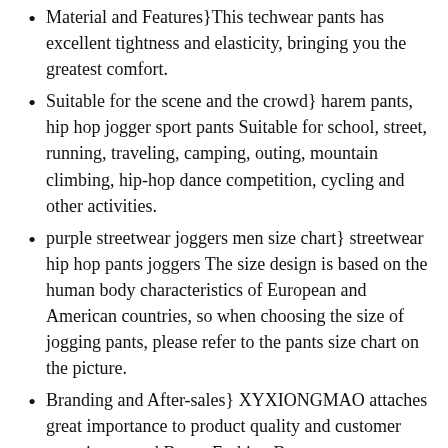Material and Features}This techwear pants has excellent tightness and elasticity, bringing you the greatest comfort.
Suitable for the scene and the crowd} harem pants, hip hop jogger sport pants Suitable for school, street, running, traveling, camping, outing, mountain climbing, hip-hop dance competition, cycling and other activities.
purple streetwear joggers men size chart} streetwear hip hop pants joggers The size design is based on the human body characteristics of European and American countries, so when choosing the size of jogging pants, please refer to the pants size chart on the picture.
Branding and After-sales} XYXIONGMAO attaches great importance to product quality and customer experience, and Better Fashion Better